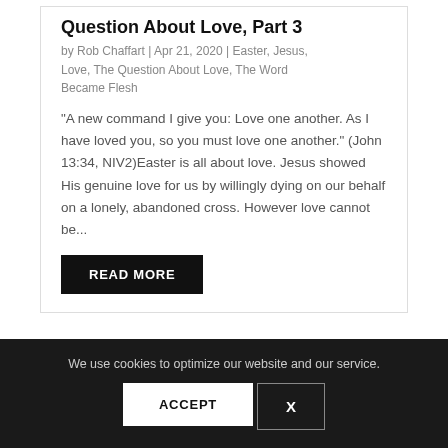Question About Love, Part 3
by Rob Chaffart | Apr 21, 2020 | Easter, Jesus, Love, The Question About Love, The Word Became Flesh
"A new command I give you: Love one another. As I have loved you, so you must love one another." (John 13:34, NIV2)Easter is all about love. Jesus showed His genuine love for us by willingly dying on our behalf on a lonely, abandoned cross. However love cannot be...
READ MORE
We use cookies to optimize our website and our service.
ACCEPT
X